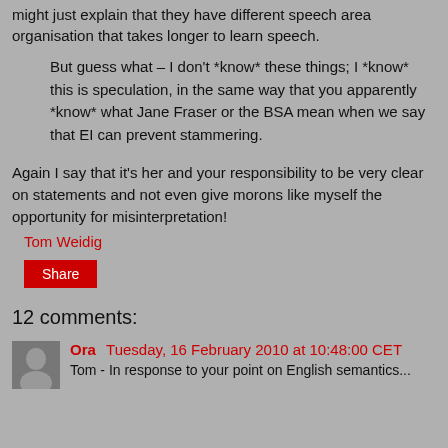might just explain that they have different speech area organisation that takes longer to learn speech.
But guess what – I don't *know* these things; I *know* this is speculation, in the same way that you apparently *know* what Jane Fraser or the BSA mean when we say that EI can prevent stammering.
Again I say that it's her and your responsibility to be very clear on statements and not even give morons like myself the opportunity for misinterpretation!
Tom Weidig
Share
12 comments:
Ora  Tuesday, 16 February 2010 at 10:48:00 CET
Tom - In response to your point on English semantics...